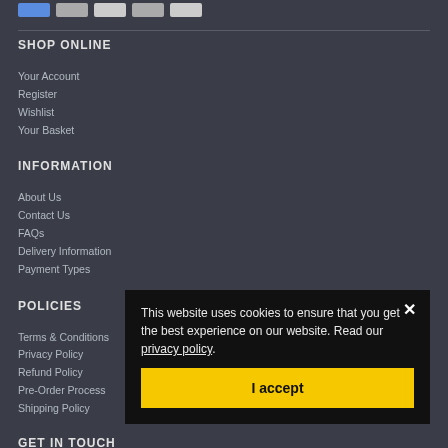[Figure (other): Payment method icons row (PayPal and others)]
SHOP ONLINE
Your Account
Register
Wishlist
Your Basket
INFORMATION
About Us
Contact Us
FAQs
Delivery Information
Payment Types
POLICIES
Terms & Conditions
Privacy Policy
Refund Policy
Pre-Order Process
Shipping Policy
GET IN TOUCH
E: info@emporiumofcool.co.uk
This website uses cookies to ensure that you get the best experience on our website. Read our privacy policy.
I accept